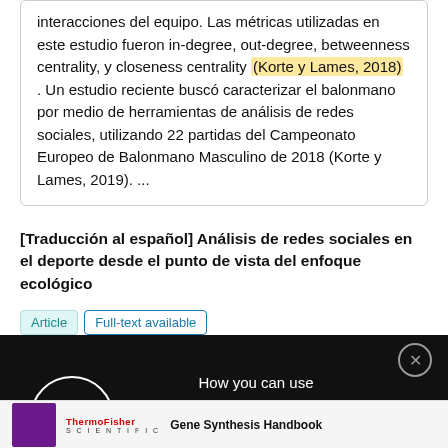interacciones del equipo. Las métricas utilizadas en este estudio fueron in-degree, out-degree, betweenness centrality, y closeness centrality (Korte y Lames, 2018) . Un estudio reciente buscó caracterizar el balonmano por medio de herramientas de análisis de redes sociales, utilizando 22 partidas del Campeonato Europeo de Balonmano Masculino de 2018 (Korte y Lames, 2019). ...
[Traducción al español] Análisis de redes sociales en el deporte desde el punto de vista del enfoque ecológico
Article | Full-text available
[Figure (other): Dark advertisement overlay with a circle graphic and text: 'How you can use Employer Branding as part of your recruitment strategy in academia', with a close button.]
[Figure (other): Bottom advertisement banner for ThermoFisher Scientific featuring 'Gene Synthesis Handbook'.]